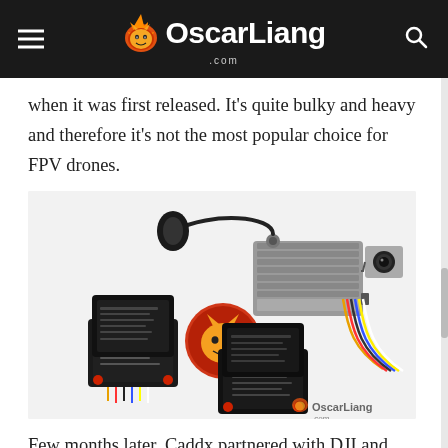OscarLiang.com
when it was first released. It’s quite bulky and heavy and therefore it’s not the most popular choice for FPV drones.
[Figure (photo): Photo of DJI FPV drone components: two stacked flight controller boards on the left, a DJI FPV unit (gray rectangular box with camera and antenna) on the right, connected by wires. An OscarLiang.com sticker/logo is in the center. OscarLiang.com watermark visible in the bottom right.]
Few months later, Caddx partnered with DJI and